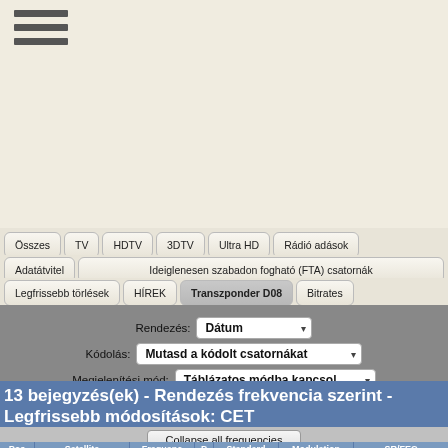[Figure (other): Hamburger menu icon with three horizontal bars]
Összes  TV  HDTV  3DTV  Ultra HD  Rádió adások
Adatátvitel  Ideiglenesen szabadon fogható (FTA) csatornák
Legfrissebb törlések  HÍREK  Transzponder D08  Bitrates
Rendezés: Dátum ▾
Kódolás: Mutasd a kódolt csatornákat ▾
Megjelenítési mód: Táblázatos módba kapcsol ▾
13 bejegyzés(ek) - Rendezés frekvencia szerint - Legfrissebb módosítások: CET
Collapse all frequencies
| Pos | Satellite | Frequenc | P | Standard | Modulation | SR/FEC |
| --- | --- | --- | --- | --- | --- | --- |